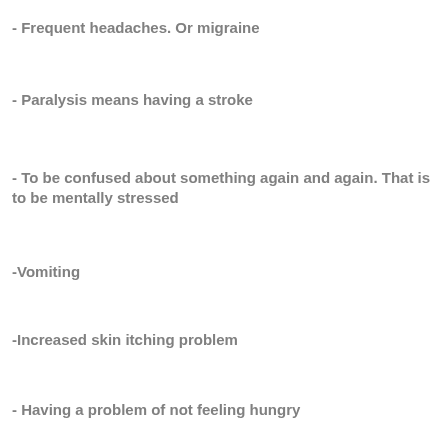- Frequent headaches. Or migraine
- Paralysis means having a stroke
- To be confused about something again and again. That is to be mentally stressed
-Vomiting
-Increased skin itching problem
- Having a problem of not feeling hungry